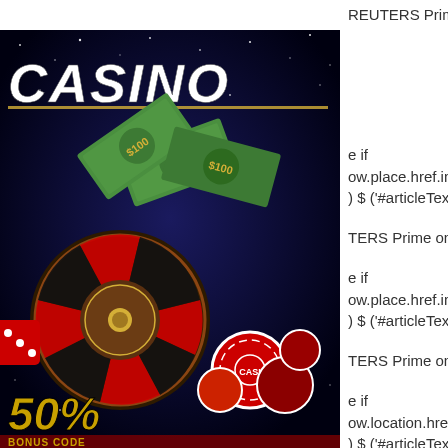REUTERS Prime one hundred
[Figure (photo): Casino advertisement image showing roulette wheel, dice, playing cards, dollar bills, and 50% bonus text on dark starry background]
e if
ow.place.href.indexOf('idUSL1N11G2C820150915'
) $ ('#articleText').prepend('
TERS Prime one hundred
e if
ow.place.href.indexOf('idUSL1N11K2F720150915'
) $ ('#articleText').prepend('
TERS Prime one hundred
e if
ow.location.href.indexOf('idUSL1N11K1W720150915
) $ ('#articleText').prepend('
TERS Leading one hundred